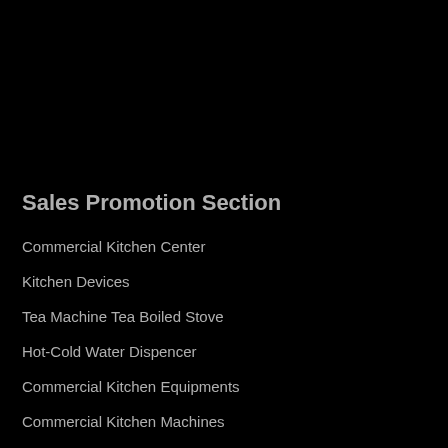Sales Promotion Section
Commercial Kitchen Center
Kitchen Devices
Tea Machine Tea Boiled Stove
Hot-Cold Water Dispencer
Commercial Kitchen Equipments
Commercial Kitchen Machines